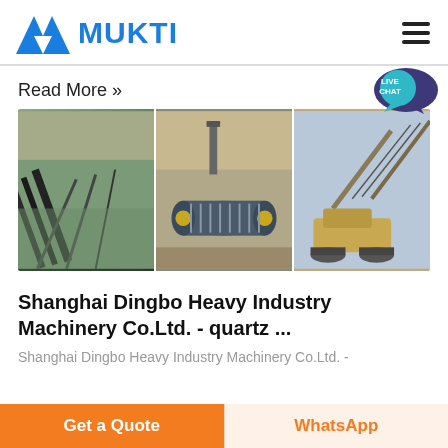MUKTI
Read More »
[Figure (photo): Three industrial mining/quarrying machine photos side by side: conveyor belt system on left, large ball mill in center, and excavation/crushing equipment on right]
Shanghai Dingbo Heavy Industry Machinery Co.Ltd. - quartz ...
Shanghai Dingbo Heavy Industry Machinery Co.Ltd. -
Get a Quote
WhatsApp